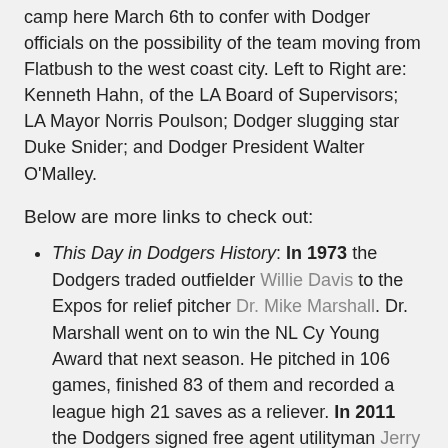camp here March 6th to confer with Dodger officials on the possibility of the team moving from Flatbush to the west coast city. Left to Right are: Kenneth Hahn, of the LA Board of Supervisors; LA Mayor Norris Poulson; Dodger slugging star Duke Snider; and Dodger President Walter O'Malley.
Below are more links to check out:
This Day in Dodgers History: In 1973 the Dodgers traded outfielder Willie Davis to the Expos for relief pitcher Dr. Mike Marshall. Dr. Marshall went on to win the NL Cy Young Award that next season. He pitched in 106 games, finished 83 of them and recorded a league high 21 saves as a reliever. In 2011 the Dodgers signed free agent utilityman Jerry Hairston to a two-year $6 million contract. He would soon thereafter retire and join the Dodgers broadcast crew.
Happy Birthday: Jamie McCourt, Sue ...